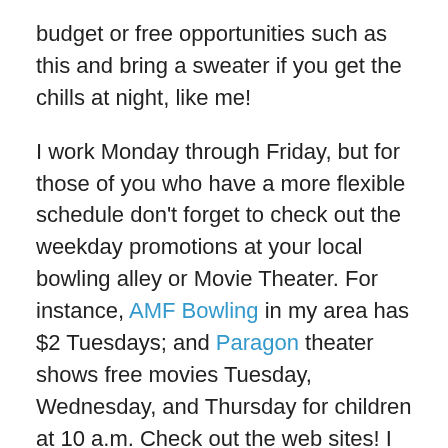budget or free opportunities such as this and bring a sweater if you get the chills at night, like me!
I work Monday through Friday, but for those of you who have a more flexible schedule don't forget to check out the weekday promotions at your local bowling alley or Movie Theater. For instance, AMF Bowling in my area has $2 Tuesdays; and Paragon theater shows free movies Tuesday, Wednesday, and Thursday for children at 10 a.m. Check out the web sites! I just found out that for $40 I could purchase a summer pass (for a family of 4) for AMF Bowling and bowl up to 3 games every day if I wanted to. (I'll keep that in mind for next year!)
My boyfriend had a birthday a few weeks ago. Rather than go out to eat, I'd planned to cook him a little birthday dinner and bought a couple cupcakes from our favorite